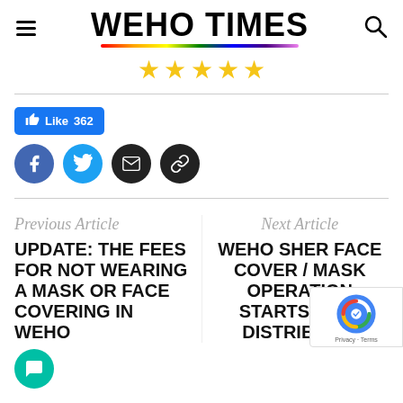WEHO TIMES
[Figure (other): Five gold star rating icons in a row]
[Figure (infographic): Social sharing area: Facebook Like button showing 362 likes, and four circular share icons for Facebook, Twitter, Email, and Link]
Previous Article
Next Article
UPDATE: THE FEES FOR NOT WEARING A MASK OR FACE COVERING IN WEHO
WEHO SHER FACE COVER / MASK OPERATION STARTS WITH DISTRIBUTIO